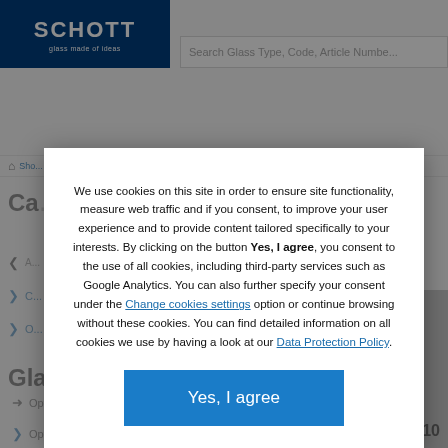[Figure (screenshot): SCHOTT glass website screenshot in background behind a cookie consent modal dialog. The page shows the SCHOTT logo (dark blue bar, top left), a search bar, navigation breadcrumb, catalog title 'Ca...anum', nav items in blue, 'Glass Parameters' heading, Optical Glass and Optical Parameters nav items, a product image, and N-LAK10 label.]
We use cookies on this site in order to ensure site functionality, measure web traffic and if you consent, to improve your user experience and to provide content tailored specifically to your interests. By clicking on the button Yes, I agree, you consent to the use of all cookies, including third-party services such as Google Analytics. You can also further specify your consent under the Change cookies settings option or continue browsing without these cookies. You can find detailed information on all cookies we use by having a look at our Data Protection Policy.
Yes, I agree